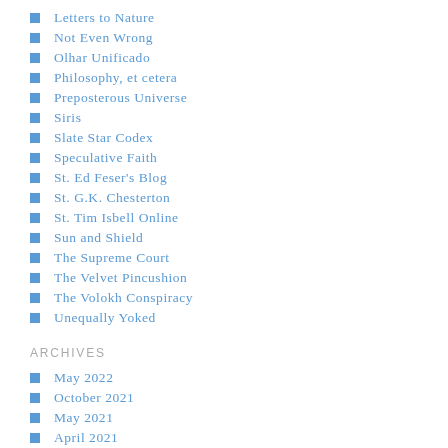Letters to Nature
Not Even Wrong
Olhar Unificado
Philosophy, et cetera
Preposterous Universe
Siris
Slate Star Codex
Speculative Faith
St. Ed Feser's Blog
St. G.K. Chesterton
St. Tim Isbell Online
Sun and Shield
The Supreme Court
The Velvet Pincushion
The Volokh Conspiracy
Unequally Yoked
ARCHIVES
May 2022
October 2021
May 2021
April 2021
October 2020
September 2020